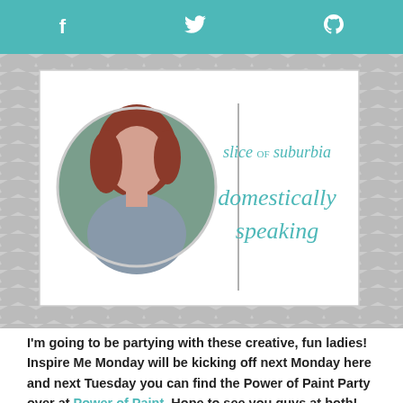f  [twitter bird]  P
[Figure (illustration): Blog header for 'Slice of Suburbia - Domestically Speaking' with circular profile photo of a woman with red hair on a green background, separated by a vertical line from the blog title text in teal on white, overlaid on a gray chevron background]
I'm going to be partying with these creative, fun ladies!  Inspire Me Monday will be kicking off next Monday here and next Tuesday you can find the Power of Paint Party over at Power of Paint.  Hope to see you guys at both!